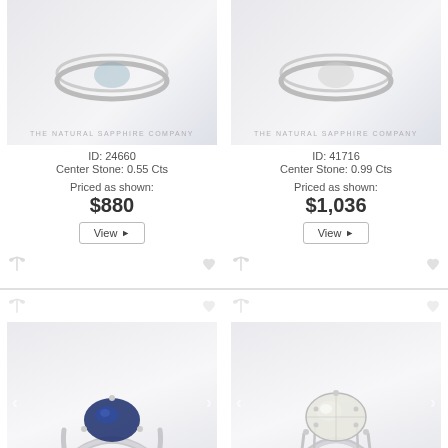[Figure (photo): Top-left: Ring product photo with THE NATURAL SAPPHIRE COMPANY watermark]
ID: 24660
Center Stone: 0.55 Cts
Priced as shown:
$880
View ▶
[Figure (photo): Top-right: Ring product photo with THE NATURAL SAPPHIRE COMPANY watermark]
ID: 41716
Center Stone: 0.99 Cts
Priced as shown:
$1,036
View ▶
[Figure (photo): Bottom-left: Solitaire ring with blue sapphire center stone, THE NATURAL SAPPHIRE COMPANY watermark]
ID: 70197
Center Stone: 1.66 Cts
[Figure (photo): Bottom-right: Solitaire ring with white/clear center stone, THE NATURAL SAPPHIRE COMPANY watermark]
ID: 51301
Center Stone: 1.39 Cts